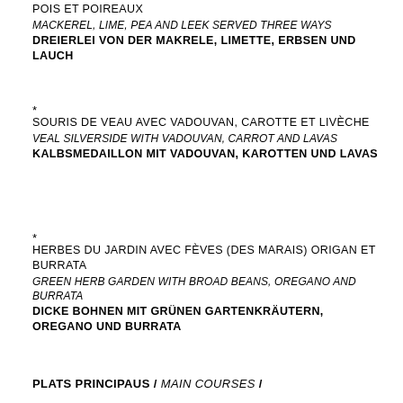POIS ET POIREAUX
MACKEREL, LIME, PEA AND LEEK SERVED THREE WAYS
DREIERLEI VON DER MAKRELE, LIMETTE, ERBSEN UND LAUCH
*
SOURIS DE VEAU AVEC VADOUVAN, CAROTTE ET LIVÈCHE
VEAL SILVERSIDE WITH VADOUVAN, CARROT AND LAVAS
KALBSMEDAILLON MIT VADOUVAN, KAROTTEN UND LAVAS
*
HERBES DU JARDIN AVEC FÈVES (DES MARAIS) ORIGAN ET BURRATA
GREEN HERB GARDEN WITH BROAD BEANS, OREGANO AND BURRATA
DICKE BOHNEN MIT GRÜNEN GARTENKRÄUTERN, OREGANO UND BURRATA
PLATS PRINCIPAUS / MAIN COURSES /